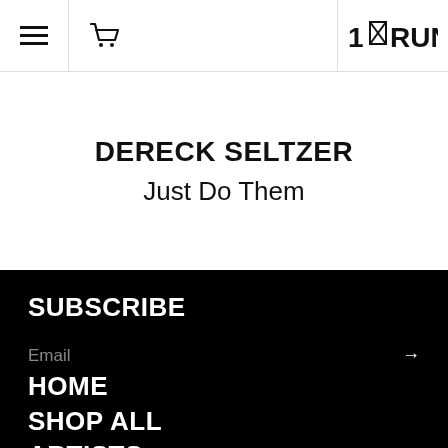1×RUN — navigation header with hamburger menu, cart icon, and logo
DERECK SELTZER
Just Do Them
SUBSCRIBE
Email
HOME
SHOP ALL
ARTISTS